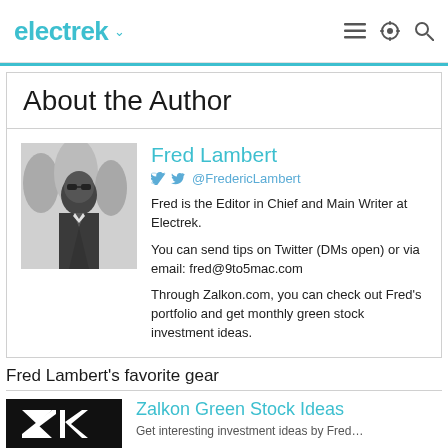electrek
About the Author
Fred Lambert
@FredericLambert
Fred is the Editor in Chief and Main Writer at Electrek.

You can send tips on Twitter (DMs open) or via email: fred@9to5mac.com

Through Zalkon.com, you can check out Fred's portfolio and get monthly green stock investment ideas.
Fred Lambert's favorite gear
Zalkon Green Stock Ideas